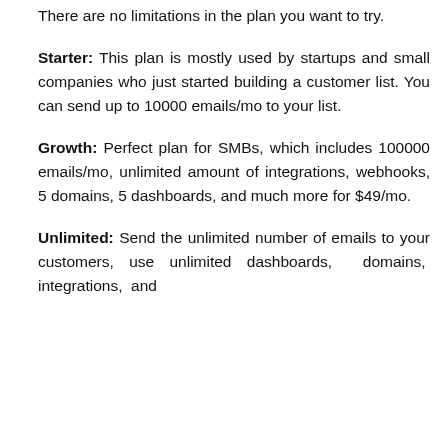There are no limitations in the plan you want to try.
Starter: This plan is mostly used by startups and small companies who just started building a customer list. You can send up to 10000 emails/mo to your list.
Growth: Perfect plan for SMBs, which includes 100000 emails/mo, unlimited amount of integrations, webhooks, 5 domains, 5 dashboards, and much more for $49/mo.
Unlimited: Send the unlimited number of emails to your customers, use unlimited dashboards, domains, integrations, and